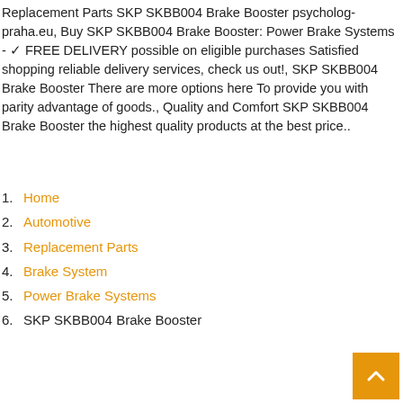Replacement Parts SKP SKBB004 Brake Booster psycholog-praha.eu, Buy SKP SKBB004 Brake Booster: Power Brake Systems - ✓ FREE DELIVERY possible on eligible purchases Satisfied shopping reliable delivery services, check us out!, SKP SKBB004 Brake Booster There are more options here To provide you with parity advantage of goods., Quality and Comfort SKP SKBB004 Brake Booster the highest quality products at the best price..
Home
Automotive
Replacement Parts
Brake System
Power Brake Systems
SKP SKBB004 Brake Booster